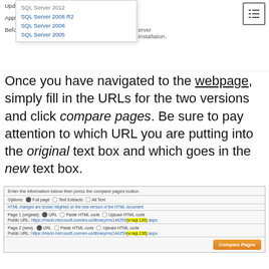[Figure (screenshot): Partial view of a webpage header with dropdown menu showing SQL Server versions: SQL Server 2012, SQL Server 2008 R2, SQL Server 2008, SQL Server 2005. Also shows 'Updated: November', 'Applies To: SQL Se...', and 'Before you run SQL...' text with a table-of-contents icon in the top right.]
Once you have navigated to the webpage, simply fill in the URLs for the two versions and click compare pages. Be sure to pay attention to which URL you are putting into the original text box and which goes in the new text box.
[Figure (screenshot): Screenshot of a webpage comparison tool interface showing: a header 'Enter the information below then press the compare pages button.', Options row with Full page selected, Text Extracts, All Text radio buttons, a note about HTML changes being shown highlighted, Page 1 (original) URL field with https://msdn.microsoft.com/en-us/library/ms144259(v=sql.120).aspx with v=sql.120 highlighted in yellow, Page 2 (new) URL field with https://msdn.microsoft.com/en-us/library/ms144259(v=sql.130).aspx with v=sql.130 highlighted in yellow, and a Compare Pages button.]